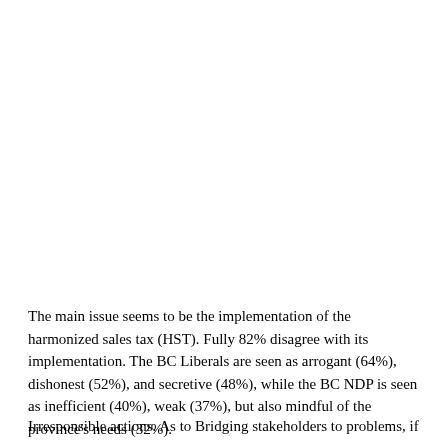The main issue seems to be the implementation of the harmonized sales tax (HST). Fully 82% disagree with its implementation. The BC Liberals are seen as arrogant (64%), dishonest (52%), and secretive (48%), while the BC NDP is seen as inefficient (40%), weak (37%), but also mindful of the province's needs (32%).
Irresponsible actions. As to Bridging stakeholders to problems, if...